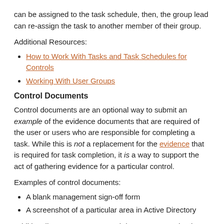can be assigned to the task schedule, then, the group lead can re-assign the task to another member of their group.
Additional Resources:
How to Work With Tasks and Task Schedules for Controls
Working With User Groups
Control Documents
Control documents are an optional way to submit an example of the evidence documents that are required of the user or users who are responsible for completing a task. While this is not a replacement for the evidence that is required for task completion, it is a way to support the act of gathering evidence for a particular control.
Examples of control documents:
A blank management sign-off form
A screenshot of a particular area in Active Directory
Additionally, you can use control documents to upload detailed instructions for completing a task. If you do so, when creating the task schedule, we recommend using the Task Description field to instruct the user to review the file that you've uploaded under